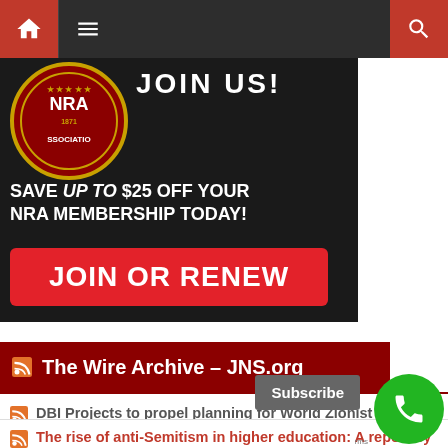Navigation bar with home, menu, and search icons
[Figure (illustration): NRA advertisement: circular NRA logo badge with '1871', text 'SAVE UP TO $25 OFF YOUR NRA MEMBERSHIP TODAY!' with italic 'UP TO', and red 'JOIN OR RENEW' button on dark background]
The Wire Archive – JNS.org
DBI Projects to propel planning for World Zionist Village
August 22, 2022
The rise of anti-Semitism in higher education: A report by